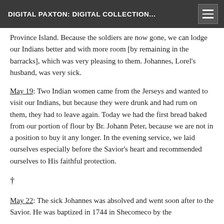DIGITAL PAXTON: DIGITAL COLLECTION...
Province Island. Because the soldiers are now gone, we can lodge our Indians better and with more room [by remaining in the barracks], which was very pleasing to them. Johannes, Lorel’s husband, was very sick.
May 19: Two Indian women came from the Jerseys and wanted to visit our Indians, but because they were drunk and had rum on them, they had to leave again. Today we had the first bread baked from our portion of flour by Br. Johann Peter, because we are not in a position to buy it any longer. In the evening service, we laid ourselves especially before the Savior’s heart and recommended ourselves to His faithful protection.
†
May 22: The sick Johannes was absolved and went soon after to the Savior. He was baptized in 1744 in Shecomeco by the